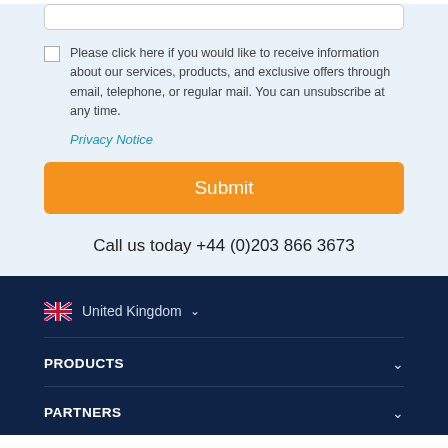Please click here if you would like to receive information about our services, products, and exclusive offers through email, telephone, or regular mail. You can unsubscribe at any time.
Privacy Notice
Submit
Call us today +44 (0)203 866 3673
United Kingdom
PRODUCTS
PARTNERS